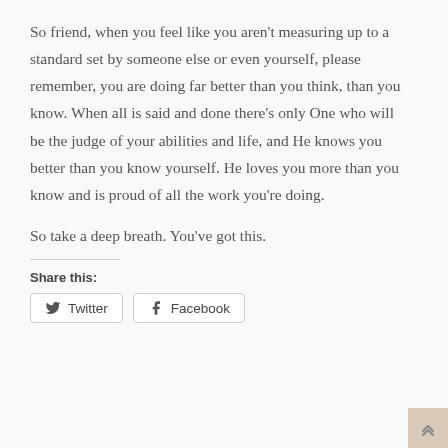So friend, when you feel like you aren't measuring up to a standard set by someone else or even yourself, please remember, you are doing far better than you think, than you know. When all is said and done there's only One who will be the judge of your abilities and life, and He knows you better than you know yourself. He loves you more than you know and is proud of all the work you're doing.
So take a deep breath. You've got this.
Share this: